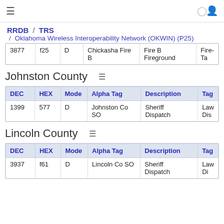≡  (user icon)
RRDB / TRS / Oklahoma Wireless Interoperability Network (OKWIN) (P25)
| DEC | HEX | Mode | Alpha Tag | Description | Tag |
| --- | --- | --- | --- | --- | --- |
| 3877 | f25 | D | Chickasha Fire B | Fire B Fireground | Fire-Ta |
Johnston County
| DEC | HEX | Mode | Alpha Tag | Description | Tag |
| --- | --- | --- | --- | --- | --- |
| 1399 | 577 | D | Johnston Co SO | Sheriff Dispatch | Law Dis |
Lincoln County
| DEC | HEX | Mode | Alpha Tag | Description | Tag |
| --- | --- | --- | --- | --- | --- |
| 3937 | f61 | D | Lincoln Co SO | Sheriff Dispatch | Law Di |